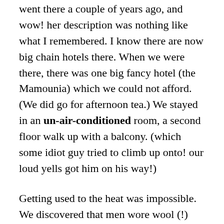went there a couple of years ago, and wow!  her description was nothing like what I remembered.  I know there are now big chain hotels there.  When we were there, there was one big fancy hotel (the Mamounia) which we could not afford.  (We did go for afternoon tea.)  We stayed in an un-air-conditioned room, a second floor walk up with a balcony.  (which some idiot guy tried to climb up onto!  our loud yells got him on his way!)
Getting used to the heat was impossible.  We discovered that men wore wool (!) long undershirts under their robes so that when their sweat made the fabric wet, it kept them cool during the day!  At first I thought that was disgusting, but after a day or so, I totally got it.  My 17...